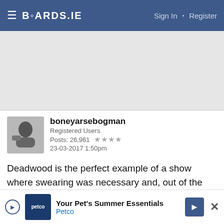BOARDS.IE  Sign In · Register
[Figure (other): Top advertisement banner area, gray background]
boneyarsebogman
Registered Users
Posts: 26,961 ★★★★
23-03-2017 1:50pm
Deadwood is the perfect example of a show where swearing was necessary and, out of the mouth of Ian McShane, can sound so damned poetic.
[Figure (other): Bottom advertisement: Petco — Your Pet's Summer Essentials]